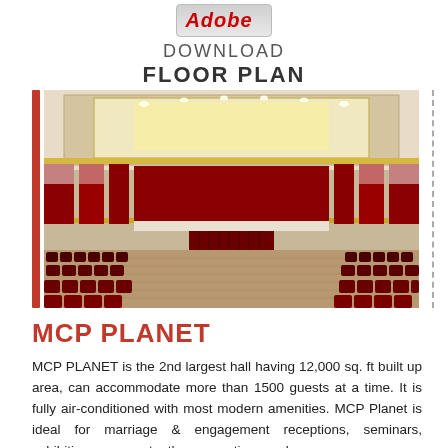[Figure (logo): Adobe logo with gradient background button]
DOWNLOAD FLOOR PLAN
[Figure (photo): Interior of MCP Planet banquet/conference hall showing rows of dark red chairs, a stage with red curtains, red wall panels, and a coffered ceiling with warm lighting]
MCP PLANET
MCP PLANET is the 2nd largest hall having 12,000 sq. ft built up area, can accommodate more than 1500 guests at a time. It is fully air-conditioned with most modern amenities. MCP Planet is ideal for marriage & engagement receptions, seminars, exhibitions, corporate, the conventions and